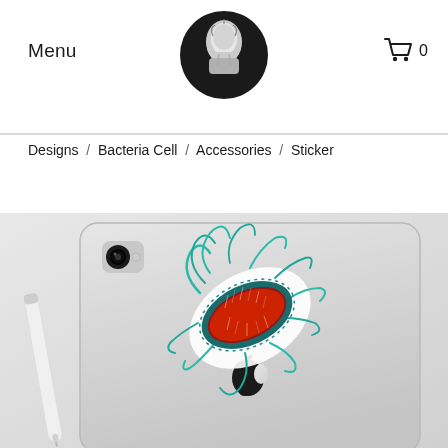Menu
Designs / Bacteria Cell / Accessories / Sticker
[Figure (photo): Product page screenshot showing a bacteria cell sticker applied to the back of an iPad. The sticker features a detailed illustration of a bacterium with red interior and teal flagella/cilia. An Apple Pencil is visible leaning against the iPad. The Apple logo is visible on the iPad back.]